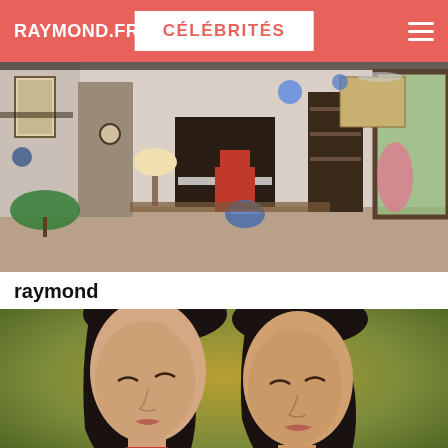RAYMOND.FR  |  CÉLÉBRITÉS
[Figure (photo): Interior room photo showing eclectic decor with piano, red chair, plants, artworks on wall, shelves, and flowers]
raymond
[Figure (photo): Painting of two women with dark hair leaning close together, rendered in classical style with muted earth tones and red clothing]